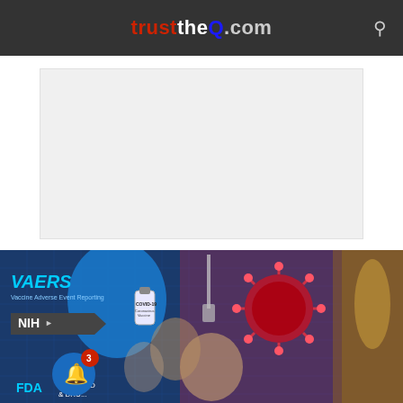trusttheQ.com
[Figure (other): Advertisement placeholder - light gray rectangle]
[Figure (photo): Composite thumbnail image showing VAERS label, NIH badge, a gloved hand holding a COVID-19 vaccine vial, a coronavirus particle graphic, figures including what appears to be Anthony Fauci, FDA label, and a notification bell with badge showing 3 notifications. Right side shows an ancient/mythological scene.]